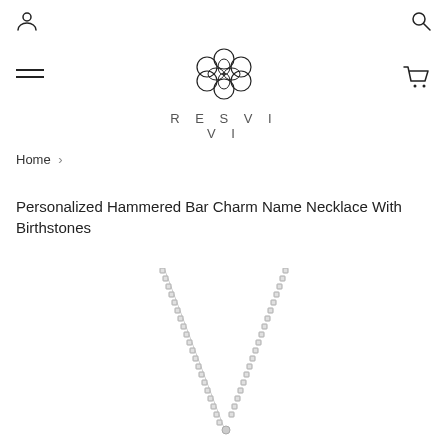RESVIVI
Home ›
Personalized Hammered Bar Charm Name Necklace With Birthstones
[Figure (photo): A silver chain necklace forming a V-shape, shown on a white background. The chain is a box-link style and meets at the bottom center of the V.]